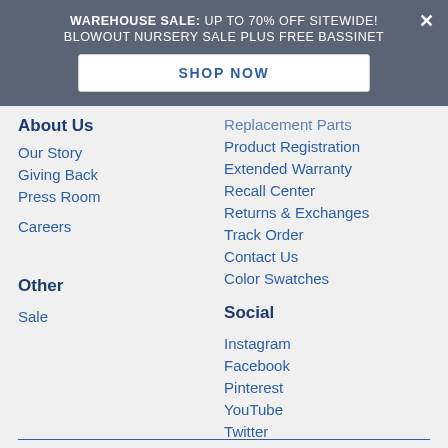WAREHOUSE SALE: UP TO 70% OFF SITEWIDE! BLOWOUT NURSERY SALE PLUS FREE BASSINET
SHOP NOW
About Us
Our Story
Giving Back
Press Room
Careers
Other
Sale
Replacement Parts
Product Registration
Extended Warranty
Recall Center
Returns & Exchanges
Track Order
Contact Us
Color Swatches
Social
Instagram
Facebook
Pinterest
YouTube
Twitter